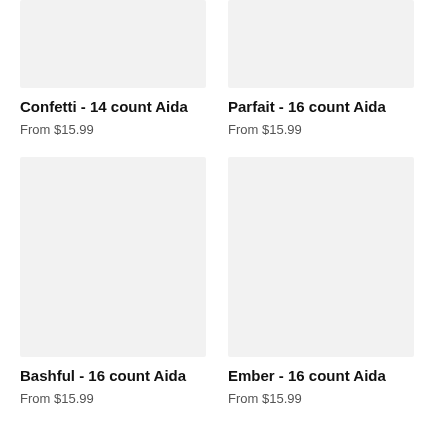[Figure (photo): Product image placeholder for Confetti - 14 count Aida, light gray rectangle]
Confetti - 14 count Aida
From $15.99
[Figure (photo): Product image placeholder for Parfait - 16 count Aida, light gray rectangle]
Parfait - 16 count Aida
From $15.99
[Figure (photo): Product image placeholder for Bashful - 16 count Aida, light gray rectangle]
Bashful - 16 count Aida
From $15.99
[Figure (photo): Product image placeholder for Ember - 16 count Aida, light gray rectangle]
Ember - 16 count Aida
From $15.99